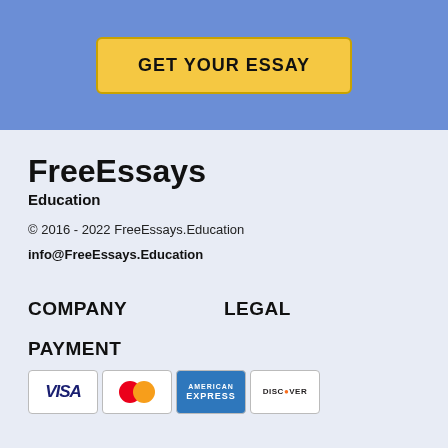[Figure (other): Blue banner section with a yellow 'GET YOUR ESSAY' button]
FreeEssays
Education
© 2016 - 2022 FreeEssays.Education
info@FreeEssays.Education
COMPANY
LEGAL
PAYMENT
[Figure (other): Row of payment card logos: VISA, Mastercard, American Express, Discover]